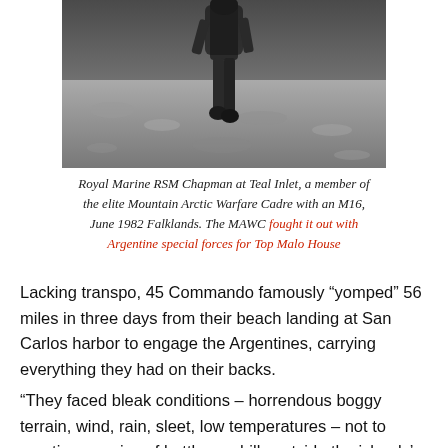[Figure (photo): Black and white photograph of a Royal Marine soldier walking on rocky terrain, viewed from the knees down, carrying gear. Photo taken at Teal Inlet, Falklands, June 1982.]
Royal Marine RSM Chapman at Teal Inlet, a member of the elite Mountain Arctic Warfare Cadre with an M16, June 1982 Falklands. The MAWC fought it out with Argentine special forces for Top Malo House
Lacking transpo, 45 Commando famously “yomped” 56 miles in three days from their beach landing at San Carlos harbor to engage the Argentines, carrying everything they had on their backs.
“They faced bleak conditions – horrendous boggy terrain, wind, rain, sleet, low temperatures – not to mention a series of battles on hills outside the islands’